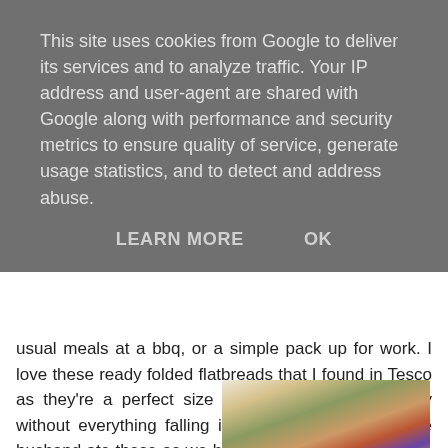This site uses cookies from Google to deliver its services and to analyze traffic. Your IP address and user-agent are shared with Google along with performance and security metrics to ensure quality of service, generate usage statistics, and to detect and address abuse.
LEARN MORE    OK
usual meals at a bbq, or a simple pack up for work. I love these ready folded flatbreads that I found in Tesco as they're a perfect size to hold the filling securely without everything falling into your lap! Myself & the husband ate these as we both love spicy food, and the kids loved the bbq chicken breast made with the full flavour smokey sauce at the weekend - you can see an Instagram pic of our tasty bbq feast here.
[Figure (photo): A plate of flatbread wraps with colourful filling including red and purple cabbage, peppers, grilled chicken, and lime wedge garnish]